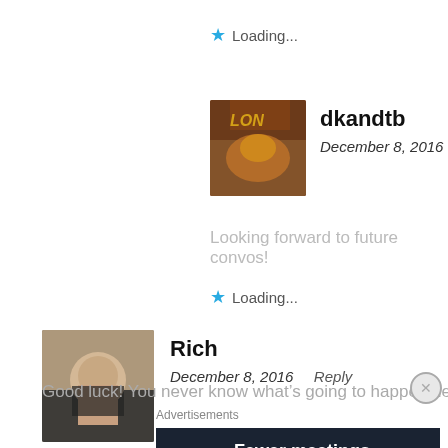Loading...
dkandtb
December 8, 2016
Looking forward to future convos!
Loading...
Rich
December 8, 2016   Reply
Good luck! You never know what’s going to happen next
Advertisements
2   Fewer meetings, more work.